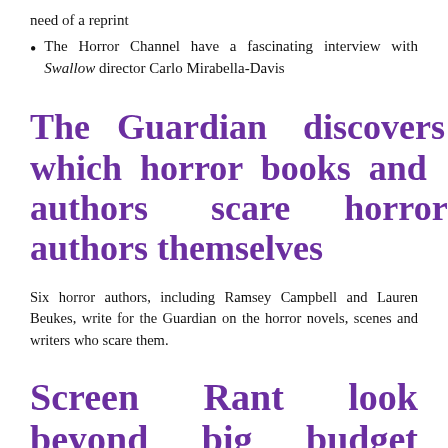need of a reprint
The Horror Channel have a fascinating interview with Swallow director Carlo Mirabella-Davis
The Guardian discovers which horror books and authors scare horror authors themselves
Six horror authors, including Ramsey Campbell and Lauren Beukes, write for the Guardian on the horror novels, scenes and writers who scare them.
Screen Rant look beyond big budget hollywood films, to